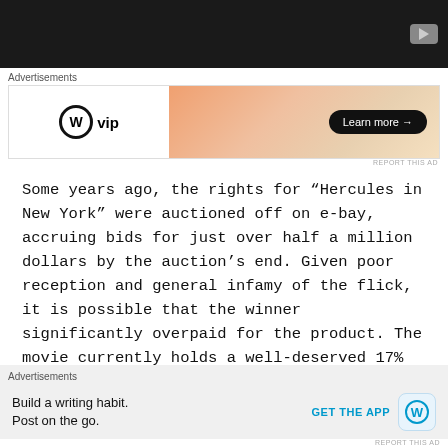[Figure (screenshot): Dark video player bar with YouTube-style play button in top right corner]
[Figure (screenshot): WordPress VIP advertisement banner with gradient background and 'Learn more' button]
Some years ago, the rights for “Hercules in New York” were auctioned off on e-bay, accruing bids for just over half a million dollars by the auction’s end. Given poor reception and general infamy of the flick, it is possible that the winner significantly overpaid for the product. The movie currently holds a well-deserved 17% critic score on Rotten Tomatoes, along with a 29%
[Figure (screenshot): WordPress mobile app advertisement: 'Build a writing habit. Post on the go.' with GET THE APP button]